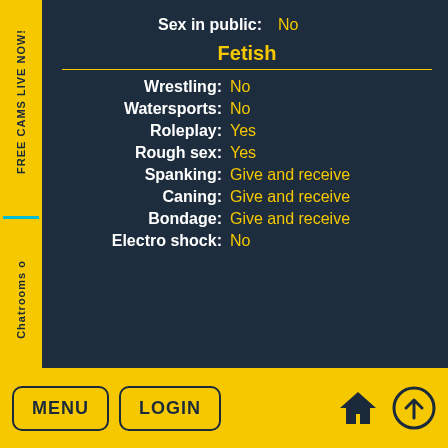Sex in public: No
Fetish
Wrestling: No
Watersports: No
Roleplay: Yes
Rough sex: Yes
Spanking: Give and receive
Caning: Give and receive
Bondage: Give and receive
Electro shock: No
FREE CAMS LIVE NOW! | Chatrooms o | MENU | LOGIN